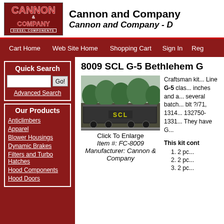[Figure (logo): Cannon & Company Diesel Components logo - red background with CANNON in large red letters and COMPANY in red, DIESEL COMPONENTS in white]
Cannon and Company
Cannon and Company - D...
Cart Home   Web Site Home   Shopping Cart   Sign In   Reg...
Quick Search
Our Products
Anticlimbers
Apparel
Blower Housings
Dynamic Brakes
Filters and Turbo Hatches
Hood Components
Hood Doors
8009 SCL G-5 Bethlehem G...
[Figure (photo): Photo of a model railroad freight car with SCL markings, dark grey/black color, on tracks]
Click To Enlarge
Item #: FC-8009
Manufacturer: Cannon & Company
Craftsman kit... Line G-5 class... inches and a... several batches... blt ?/71, 1314... 132750-1331... They have G...
This kit cont...
1. 2 pc...
2. 2 pc...
3. 2 pc...